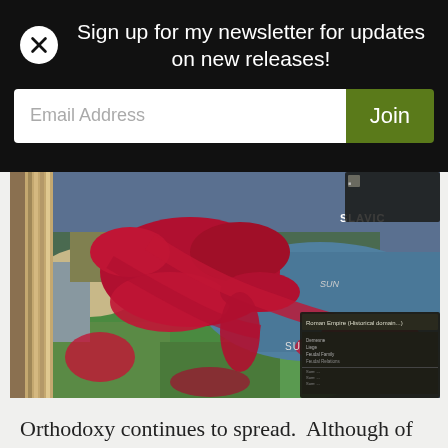Sign up for my newsletter for updates on new releases!
Email Address
Join
[Figure (screenshot): Screenshot of a strategy video game showing a map of Europe with red/crimson territory markings indicating religious spread (Orthodoxy), blue sea areas, green territories, and a game UI panel in the bottom right corner. Text labels visible include 'SLAVIC' and 'SUNNI'.]
Orthodoxy continues to spread.  Although of course I now reject God and all his works, I do like seeing maps filled in with